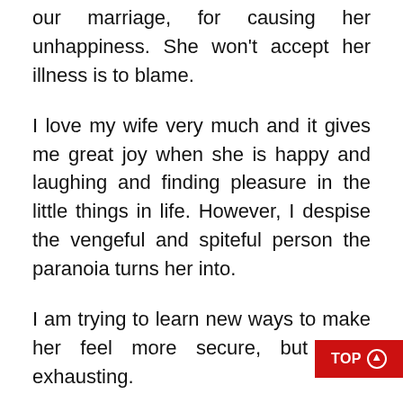our marriage, for causing her unhappiness. She won't accept her illness is to blame.
I love my wife very much and it gives me great joy when she is happy and laughing and finding pleasure in the little things in life. However, I despise the vengeful and spiteful person the paranoia turns her into.
I am trying to learn new ways to make her feel more secure, but it is exhausting.
I know this condition has broken many marriages, but I am determined to keep up the effort to save mine. I am desperately looking for re there's light at the end of the tunnel.